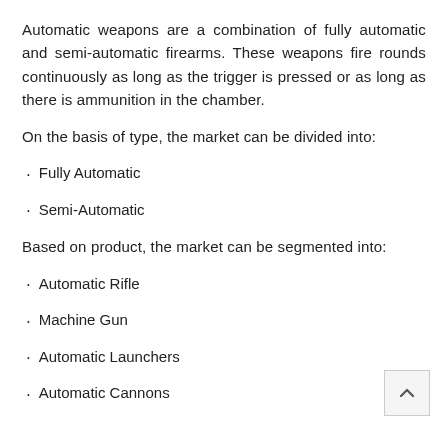Automatic weapons are a combination of fully automatic and semi-automatic firearms. These weapons fire rounds continuously as long as the trigger is pressed or as long as there is ammunition in the chamber.
On the basis of type, the market can be divided into:
Fully Automatic
Semi-Automatic
Based on product, the market can be segmented into:
Automatic Rifle
Machine Gun
Automatic Launchers
Automatic Cannons